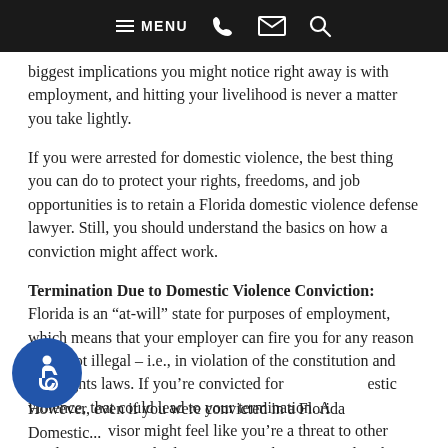MENU [phone] [email] [search]
biggest implications you might notice right away is with employment, and hitting your livelihood is never a matter you take lightly.
If you were arrested for domestic violence, the best thing you can do to protect your rights, freedoms, and job opportunities is to retain a Florida domestic violence defense lawyer. Still, you should understand the basics on how a conviction might affect work.
Termination Due to Domestic Violence Conviction:
Florida is an “at-will” state for purposes of employment, which means that your employer can fire you for any reason that’s not illegal – i.e., in violation of the constitution and civil rights laws. If you’re convicted for domestic violence, that could lead to your termination. A supervisor might feel like you’re a threat to other employees, or simply doesn’t want to be associated with someone with a criminal history.
However, even if you were convicted in a Florida Domestic...